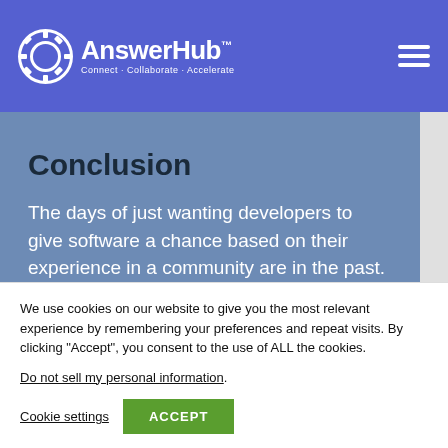AnswerHub - Connect · Collaborate · Accelerate
Conclusion
The days of just wanting developers to give software a chance based on their experience in a community are in the past. Now, encouraging collaboration and continued participation are important
We use cookies on our website to give you the most relevant experience by remembering your preferences and repeat visits. By clicking "Accept", you consent to the use of ALL the cookies.
Do not sell my personal information.
Cookie settings   ACCEPT